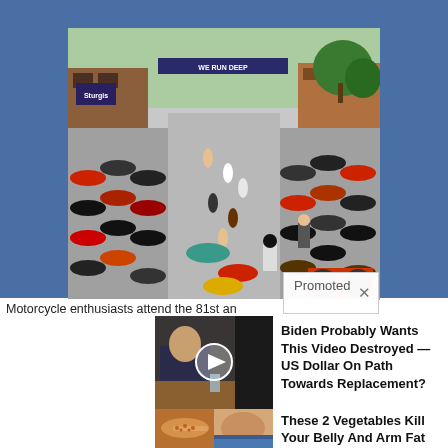[Figure (photo): Aerial view of a motorcycle rally on a crowded street with many motorcycles parked and riders gathered. A banner reading 'WE RUN DEEP' is visible in the background. Trees and storefronts including a Sturgis sign line the street.]
Motorcycle enthusiasts attend the 81st an
Promoted ×
[Figure (screenshot): Thumbnail image of a man in a suit sitting at a table with a video play button overlay]
Biden Probably Wants This Video Destroyed — US Dollar On Path Towards Replacement?
[Figure (photo): Thumbnail showing spices on a spoon and a person's midsection]
These 2 Vegetables Kill Your Belly And Arm Fat Overnight